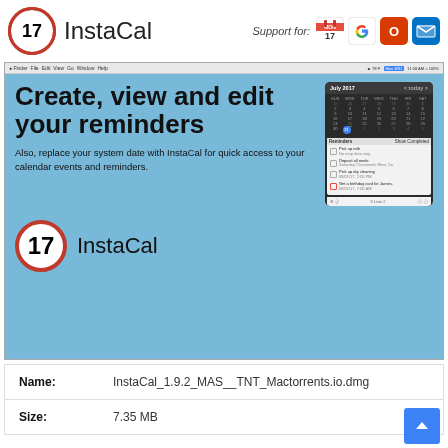17 InstaCal
Support for: [Apple Calendar] [Google] [Microsoft Office] [Outlook]
[Figure (screenshot): InstaCal macOS app screenshot showing calendar widget for July 2017 with reminders panel listing: Pick up milk, Deposit all meds, Pick up dry cleaning, Get a birthday card for James. Below the screenshot is the InstaCal logo with the number 17 in a red-bordered circle.]
| Name: | InstaCal_1.9.2_MAS__TNT_Mactorrents.io.dmg |
| Size: | 7.35 MB |